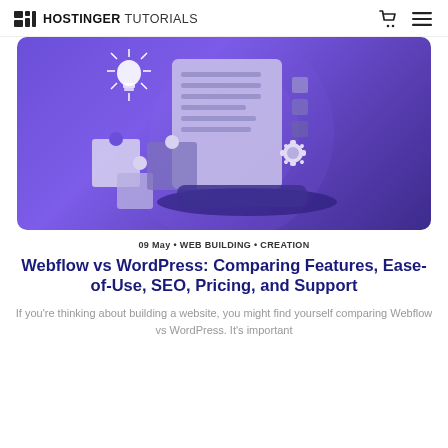HOSTINGER TUTORIALS
[Figure (illustration): Purple banner illustration with a document, puzzle pieces, a gear, and a glowing lightbulb icon on a gradient purple background]
09 May • WEB BUILDING • CREATION
Webflow vs WordPress: Comparing Features, Ease-of-Use, SEO, Pricing, and Support
If you're thinking about building a website, you might find yourself comparing Webflow vs WordPress. It's important